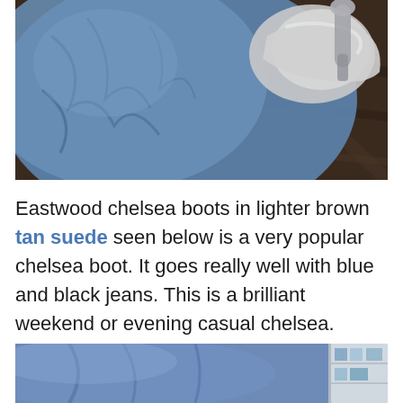[Figure (photo): Close-up overhead photo of blue denim jeans with a white/gray shoe or boot visible, on a dark wooden floor background]
Eastwood chelsea boots in lighter brown tan suede seen below is a very popular chelsea boot.  It goes really well with blue and black jeans.  This is a brilliant weekend or evening casual chelsea.
[Figure (photo): Partial photo showing blue jeans and what appears to be a store or shelf background with products]